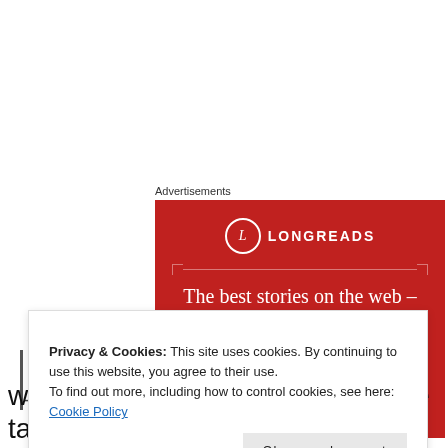Advertisements
[Figure (illustration): Longreads advertisement banner with red background showing logo, decorative border lines, headline 'The best stories on the web – ours, and everyone else's.' and a 'Start reading' button]
Privacy & Cookies: This site uses cookies. By continuing to use this website, you agree to their use.
To find out more, including how to control cookies, see here: Cookie Policy
Close and accept
with room for everyone. I think the table can